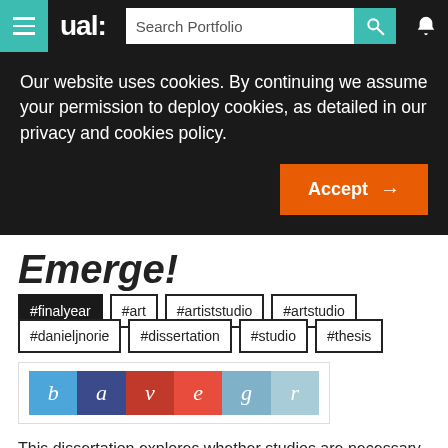ual: Search Portfolio
Our website uses cookies. By continuing we assume your permission to deploy cookies, as detailed in our privacy and cookies policy.
Accept →
Emerge!
#finalyear #art #artiststudio #artstudio
#danieljnorie #dissertation #studio #thesis
[Figure (other): Coloured letter blocks spelling 'bavegr' in different background colours: blue b, dark blue a, dark red v, red e, blue-grey g, light blue r]
This dissertation explores whether studios are necessary